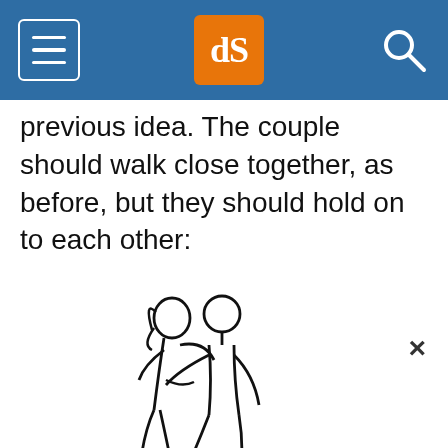dPS [logo header with hamburger menu and search]
previous idea. The couple should walk close together, as before, but they should hold on to each other:
[Figure (illustration): Line drawing illustration of a couple walking closely together, holding each other, viewed from behind/side. The two figures have their arms around each other.]